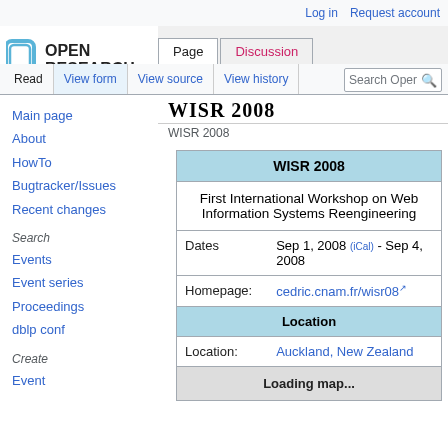Log in   Request account
[Figure (logo): Open Research logo with stylized O icon and bold text OPEN RESEARCH]
Page   Discussion   Read   View form   View source   View history   Search
WISR 2008
WISR 2008
Main page
About
HowTo
Bugtracker/Issues
Recent changes
Search
Events
Event series
Proceedings
dblp conf
Create
Event
| WISR 2008 |
| --- |
| First International Workshop on Web Information Systems Reengineering |
| Dates | Sep 1, 2008 (iCal) - Sep 4, 2008 |
| Homepage: | cedric.cnam.fr/wisr08 |
| Location |  |
| Location: | Auckland, New Zealand |
|  | Loading map... |